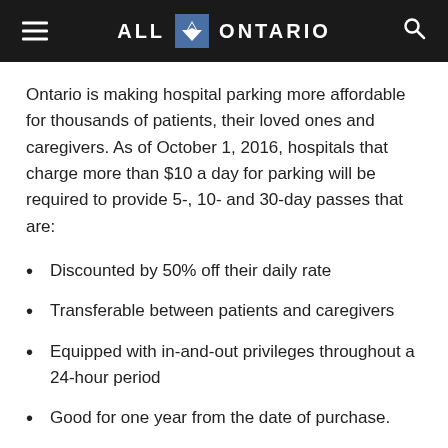ALL ONTARIO
Ontario is making hospital parking more affordable for thousands of patients, their loved ones and caregivers. As of October 1, 2016, hospitals that charge more than $10 a day for parking will be required to provide 5-, 10- and 30-day passes that are:
Discounted by 50% off their daily rate
Transferable between patients and caregivers
Equipped with in-and-out privileges throughout a 24-hour period
Good for one year from the date of purchase.
Ontario consulted with patients, patient advocacy groups, hospitals and the Ontario Hospital Association to find a fair